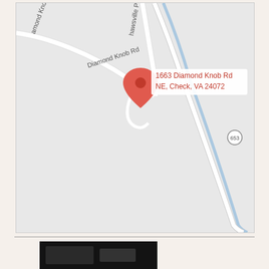[Figure (map): Google Maps view showing location pin at 1663 Diamond Knob Rd NE, Check, VA 24072. Roads visible include Diamond Knob Rd, Shawsville Pike NE, and Flat Run waterway. Route 653 marker visible.]
[Figure (photo): Partially visible dark photograph at bottom of page, appears to be a property exterior photo.]